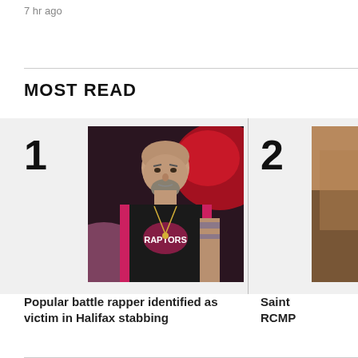7 hr ago
MOST READ
[Figure (photo): Photo of a bald man with a beard wearing a black and pink Toronto Raptors jersey, with red lighting in the background, associated with article ranked #1]
Popular battle rapper identified as victim in Halifax stabbing
[Figure (photo): Partially visible photo associated with article ranked #2, showing warm/orange tones]
Saint
RCMP